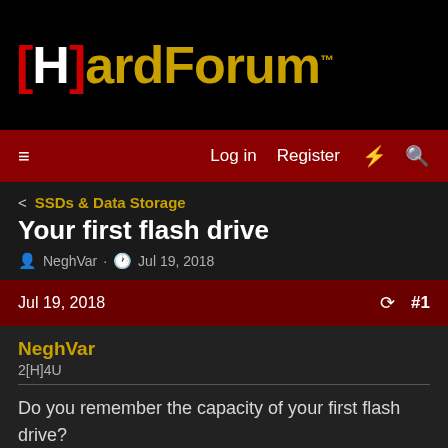[H]ardForum™
Log in  Register
< SSDs & Data Storage
Your first flash drive
NeghVar · Jul 19, 2018
Jul 19, 2018  #1
NeghVar
2[H]4U
Do you remember the capacity of your first flash drive?
Mine was 128MB. I still have it too.
[Figure (photo): Partial image of a flash drive product, showing a purple/pink diamond-shaped logo at the bottom of the image box]